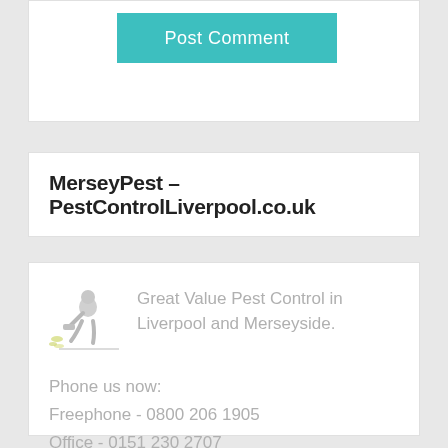[Figure (other): Post Comment button — teal/turquoise rectangle with white text 'Post Comment']
MerseyPest – PestControlLiverpool.co.uk
[Figure (illustration): Small grey illustration of a person spraying pest control]
Great Value Pest Control in Liverpool and Merseyside.
Phone us now:
Freephone - 0800 206 1905
Office - 0151 230 2707
Mobile - 07773 909 165